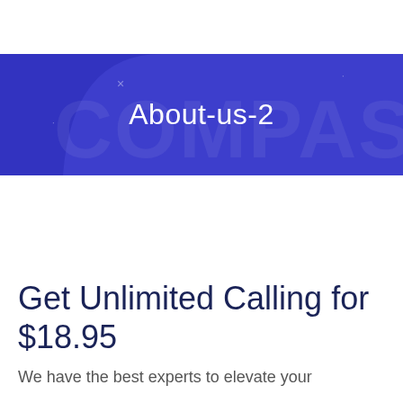[Figure (illustration): Blue curved banner/ribbon with decorative dot and cross patterns, serving as a page section header background]
About-us-2
Get Unlimited Calling for $18.95
We have the best experts to elevate your